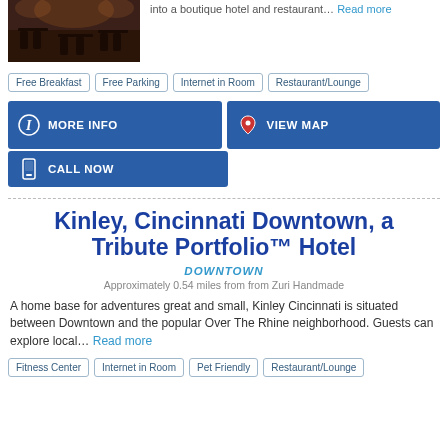[Figure (photo): Interior photo of a hotel restaurant/dining area with dark furniture and warm lighting]
into a boutique hotel and restaurant... Read more
Free Breakfast
Free Parking
Internet in Room
Restaurant/Lounge
MORE INFO
VIEW MAP
CALL NOW
Kinley, Cincinnati Downtown, a Tribute Portfolio™ Hotel
DOWNTOWN
Approximately 0.54 miles from from Zuri Handmade
A home base for adventures great and small, Kinley Cincinnati is situated between Downtown and the popular Over The Rhine neighborhood. Guests can explore local... Read more
Fitness Center
Internet in Room
Pet Friendly
Restaurant/Lounge